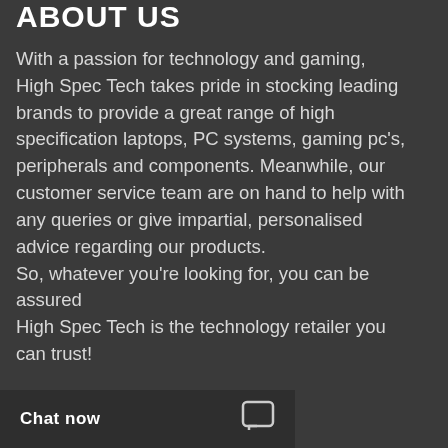About us
With a passion for technology and gaming, High Spec Tech takes pride in stocking leading brands to provide a great range of high specification laptops, PC systems, gaming pc's, peripherals and components. Meanwhile, our customer service team are on hand to help with any queries or give impartial, personalised advice regarding our products.
So, whatever you're looking for, you can be assured
High Spec Tech is the technology retailer you can trust!
Chat now